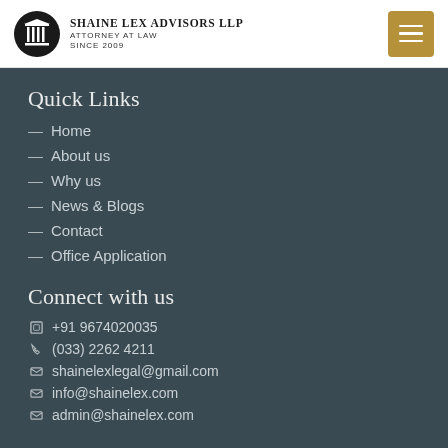Shaine Lex Advisors LLP | Attorney at Law | Since 2009
Quick Links
— Home
— About us
— Why us
— News & Blogs
— Contact
— Office Application
Connect with us
+91 9674020035
(033) 2262 4211
shainelexlegal@gmail.com
info@shainelex.com
admin@shainelex.com